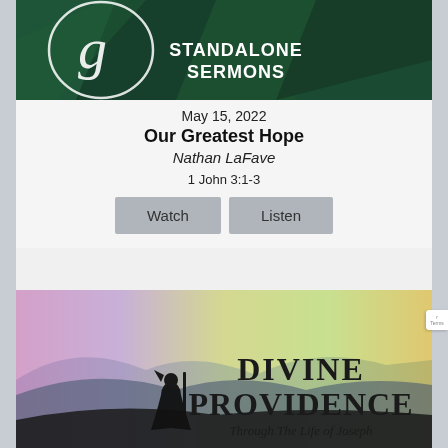[Figure (illustration): Dark green geometric background with white script logo and bold white text reading STANDALONE SERMONS]
May 15, 2022
Our Greatest Hope
Nathan LaFave
1 John 3:1-3
[Figure (illustration): Colorful gradient background with silhouette of figure and text: DIVINE PROVIDENCE Through The Life of Joseph]